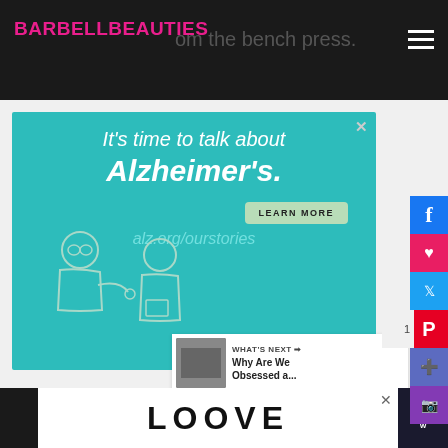BARBELL BEAUTIES
om the bench press.
[Figure (infographic): Alzheimer's Association advertisement on teal background. Text: 'It's time to talk about Alzheimer's.' with LEARN MORE button linking to alz.org/ourstories. Illustration of two people, elderly man and younger person, with Alzheimer's association logo.]
[Figure (illustration): LOVE text logo with decorative artistic lettering at bottom of page]
WHAT'S NEXT → Why Are We Obsessed a...